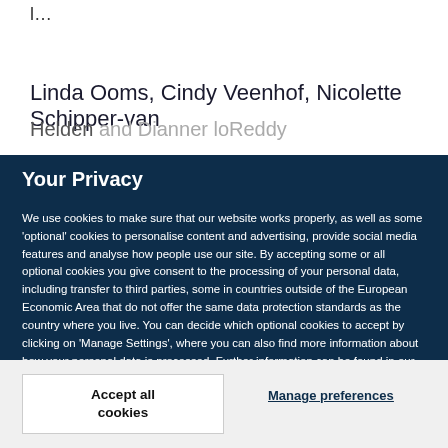l…
Linda Ooms, Cindy Veenhof, Nicolette Schipper-van
Helden and Dianne Vanderlasked Robby...
Your Privacy
We use cookies to make sure that our website works properly, as well as some 'optional' cookies to personalise content and advertising, provide social media features and analyse how people use our site. By accepting some or all optional cookies you give consent to the processing of your personal data, including transfer to third parties, some in countries outside of the European Economic Area that do not offer the same data protection standards as the country where you live. You can decide which optional cookies to accept by clicking on 'Manage Settings', where you can also find more information about how your personal data is processed. Further information can be found in our privacy policy.
Accept all cookies
Manage preferences